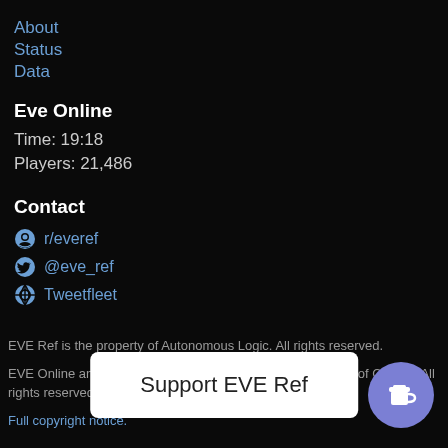About
Status
Data
Eve Online
Time: 19:18
Players: 21,486
Contact
r/everef
@eve_ref
Tweetfleet
EVE Ref is the property of Autonomous Logic. All rights reserved.
EVE Online and the EVE logo are the registered trademarks of CCP hf. All rights reserved.
Full copyright notice.
Support EVE Ref